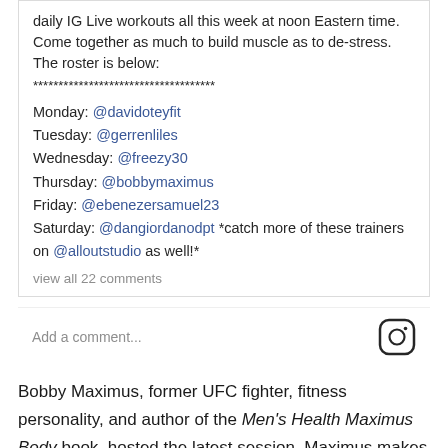daily IG Live workouts all this week at noon Eastern time. Come together as much to build muscle as to de-stress. The roster is below:
************************************
Monday: @davidoteyfit
Tuesday: @gerrenliles
Wednesday: @freezy30
Thursday: @bobbymaximus
Friday: @ebenezersamuel23
Saturday: @dangiordanodpt *catch more of these trainers on @alloutstudio as well!*
view all 22 comments
Add a comment...
Bobby Maximus, former UFC fighter, fitness personality, and author of the Men's Health Maximus Body book, hosted the latest session. Maximus makes a point to train without equipment even when he has a fully-stocked gym at his disposal—so creating an accessible session for guys stuck at home without access to gear fits perfectly to his training style.
This excerpt: Maximus gives the framework they showed...